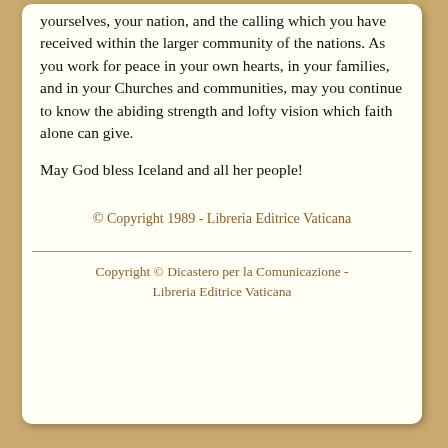yourselves, your nation, and the calling which you have received within the larger community of the nations. As you work for peace in your own hearts, in your families, and in your Churches and communities, may you continue to know the abiding strength and lofty vision which faith alone can give.
May God bless Iceland and all her people!
© Copyright 1989 - Libreria Editrice Vaticana
Copyright © Dicastero per la Comunicazione - Libreria Editrice Vaticana